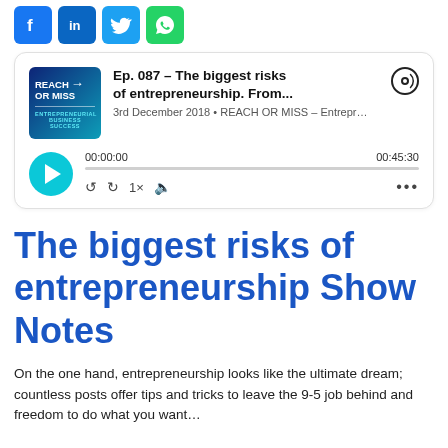[Figure (illustration): Social media sharing icons: Facebook (blue), LinkedIn (blue), Twitter (light blue), WhatsApp (green)]
[Figure (screenshot): Podcast player card for REACH OR MISS. Episode: Ep. 087 – The biggest risks of entrepreneurship. From... 3rd December 2018 • REACH OR MISS – Entrepr... Duration: 00:45:30, current position 00:00:00. Controls: play button, rewind, forward, 1x speed, volume, more options (...)]
The biggest risks of entrepreneurship Show Notes
On the one hand, entrepreneurship looks like the ultimate dream; countless posts offer tips and tricks to leave the 9-5 job behind and freedom to do what you want...